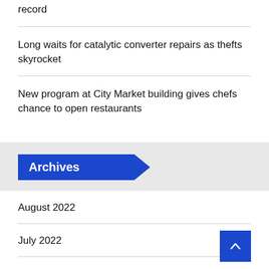record
Long waits for catalytic converter repairs as thefts skyrocket
New program at City Market building gives chefs chance to open restaurants
Archives
August 2022
July 2022
June 2022